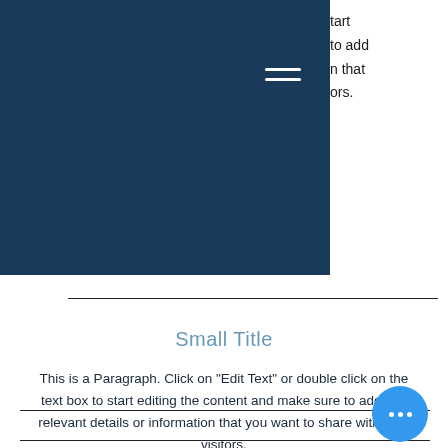Dipl. oec. Frank Moritz
Interim Risk Manager, Task Force Lead
Projektleiter, IT Service Manager, Auditor, Coach
start
to add
n that
ors.
Small Title
This is a Paragraph. Click on "Edit Text" or double click on the text box to start editing the content and make sure to add any relevant details or information that you want to share with your visitors.